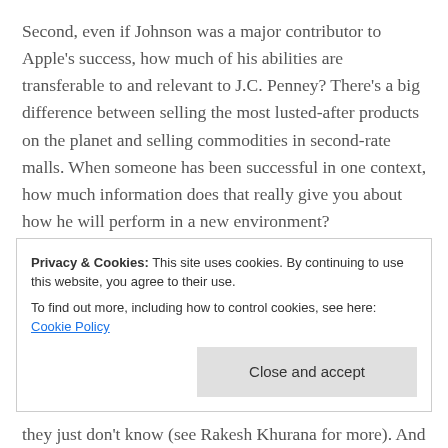Second, even if Johnson was a major contributor to Apple's success, how much of his abilities are transferable to and relevant to J.C. Penney? There's a big difference between selling the most lusted-after products on the planet and selling commodities in second-rate malls. When someone has been successful in one context, how much information does that really give you about how he will perform in a new environment?
Maybe Johnson will turn out to be a great pick; it's just too early to tell. But the general problem is undeniable. In the rush to anoint a charismatic savior, hiring
Privacy & Cookies: This site uses cookies. By continuing to use this website, you agree to their use. To find out more, including how to control cookies, see here: Cookie Policy
they just don't know (see Rakesh Khurana for more). And